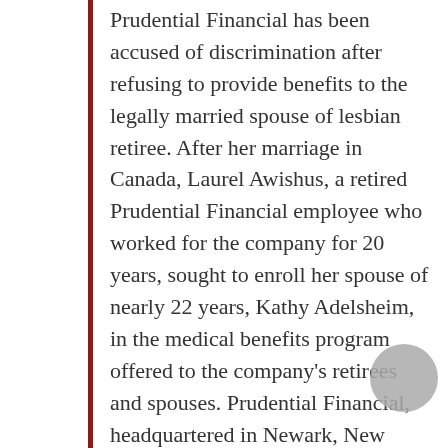Prudential Financial has been accused of discrimination after refusing to provide benefits to the legally married spouse of lesbian retiree. After her marriage in Canada, Laurel Awishus, a retired Prudential Financial employee who worked for the company for 20 years, sought to enroll her spouse of nearly 22 years, Kathy Adelsheim, in the medical benefits program offered to the company's retirees and spouses. Prudential Financial, headquartered in Newark, New Jersey, offers benefits to the domestic partners of gay and lesbian employees, but says that it only offers those benefits in retirement if the employee retired after January 1, 2000 when it implemented the program. Straight spouses are entitled to